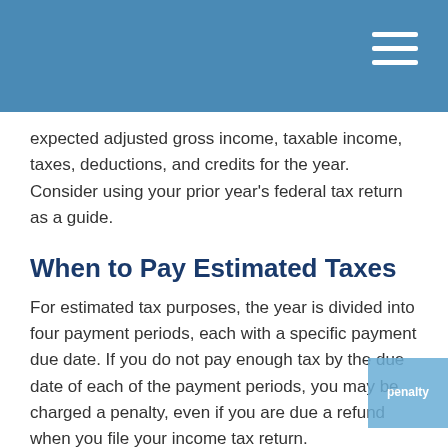expected adjusted gross income, taxable income, taxes, deductions, and credits for the year. Consider using your prior year's federal tax return as a guide.
When to Pay Estimated Taxes
For estimated tax purposes, the year is divided into four payment periods, each with a specific payment due date. If you do not pay enough tax by the due date of each of the payment periods, you may be charged a penalty, even if you are due a refund when you file your income tax return.
Generally, most taxpayers will avoid this penalty if they owe less than $1,000 in taxes after subtracting their withholdings and credits. They may also avoid the penalty if they paid at least 90% of the tax for the current year or 100% of the tax shown on the return for the prior year.